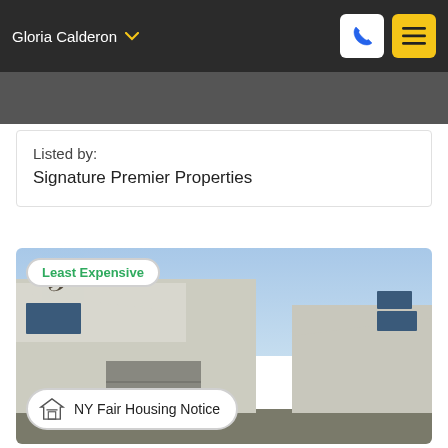Gloria Calderon
Listed by:
Signature Premier Properties
[Figure (photo): Exterior photo of suburban townhouse/property with grey siding, blue sky background, bare tree branch visible, garage door visible at base]
Least Expensive
NY Fair Housing Notice